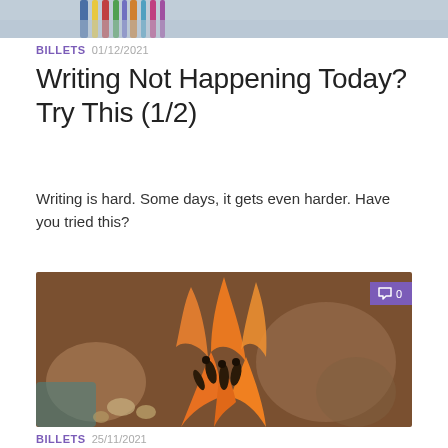[Figure (photo): Top portion of photo showing pencils/paintbrushes in a cup, cropped at top of page]
BILLETS 01/12/2021
Writing Not Happening Today? Try This (1/2)
Writing is hard. Some days, it gets even harder. Have you tried this?
[Figure (photo): Close-up photo of an orange lily flower with dark stamens, blurred background with decorative objects]
BILLETS 25/11/2021